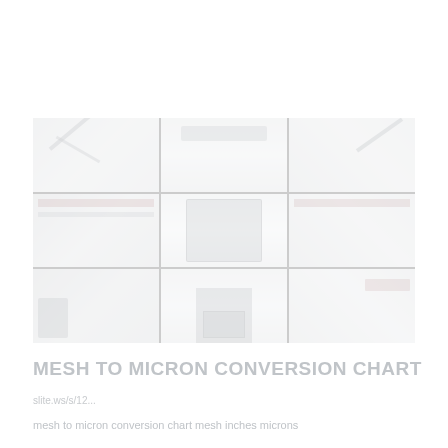[Figure (photo): Faded collage of industrial machinery photographs arranged in a 3x3 grid, showing various views of heavy equipment and processing machinery in a facility]
MESH TO MICRON CONVERSION CHART
slite.ws/s/12...
mesh to micron conversion chart mesh inches microns